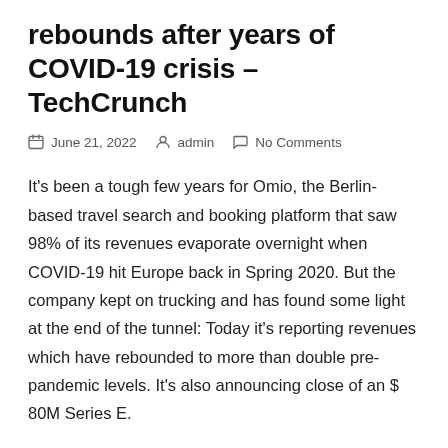rebounds after years of COVID-19 crisis – TechCrunch
June 21, 2022  admin  No Comments
It's been a tough few years for Omio, the Berlin-based travel search and booking platform that saw 98% of its revenues evaporate overnight when COVID-19 hit Europe back in Spring 2020. But the company kept on trucking and has found some light at the end of the tunnel: Today it's reporting revenues which have rebounded to more than double pre-pandemic levels. It's also announcing close of an $ 80M Series E.
The E round includes backing from some new investors including Lazard Asset Management and Stack Capital Group. Existing investors reupping their support for the